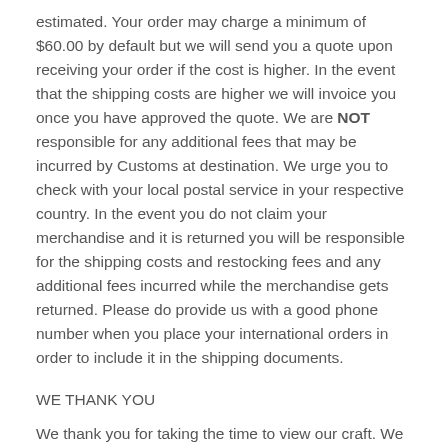estimated. Your order may charge a minimum of $60.00 by default but we will send you a quote upon receiving your order if the cost is higher. In the event that the shipping costs are higher we will invoice you once you have approved the quote. We are NOT responsible for any additional fees that may be incurred by Customs at destination. We urge you to check with your local postal service in your respective country. In the event you do not claim your merchandise and it is returned you will be responsible for the shipping costs and restocking fees and any additional fees incurred while the merchandise gets returned. Please do provide us with a good phone number when you place your international orders in order to include it in the shipping documents.
WE THANK YOU
We thank you for taking the time to view our craft. We are blessed by customers like you who support our